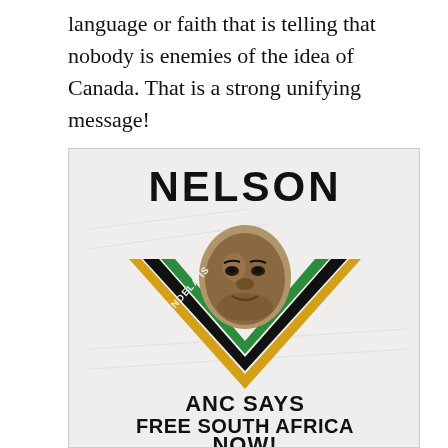language or faith that is telling that nobody is enemies of the idea of Canada. That is a strong unifying message!
[Figure (photo): Black and white political poster with text 'NELSON' at the top in bold, a portrait of Nelson Mandela in the center, a V-shaped chevron in gold, black, and green ANC colors behind the portrait, text 'MANDELA IS FREE' along the chevron arms, and at the bottom 'ANC SAYS FREE SOUTH AFRICA NOW!']